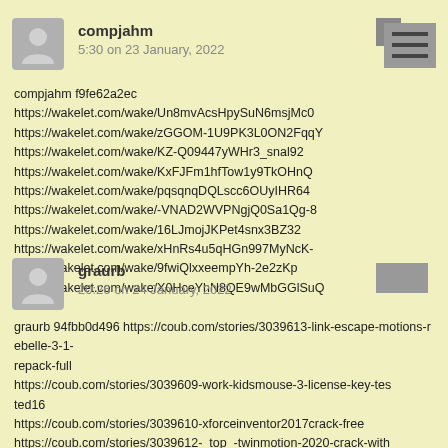compjahm
5:30 on 23 January, 2022
compjahm f9fe62a2ec https://wakelet.com/wake/Un8mvAcsHpySuN6msjMc0 https://wakelet.com/wake/zGGOM-1U9PK3L0ON2FqqY https://wakelet.com/wake/KZ-Q09447yWHr3_snal92 https://wakelet.com/wake/KxFJFm1hfTow1y9TkOHnQ https://wakelet.com/wake/pqsqnqDQLscc6OUyIHR64 https://wakelet.com/wake/-VNAD2WVPNgjQ0Sa1Qg-8 https://wakelet.com/wake/16LJmojJKPet4snx3BZ32 https://wakelet.com/wake/xHnRs4u5qHGn997MyNcK- https://wakelet.com/wake/9fwiQlxxeempYh-2e2zKp https://wakelet.com/wake/X0HceYhN8QE9wMbGGlSuQ
graurb
20:26 on 24 January, 2022
graurb 94fbb0d496 https://coub.com/stories/3039613-link-escape-motions-rebelle-3-1-repack-full https://coub.com/stories/3039609-work-kidsmouse-3-license-key-tested16 https://coub.com/stories/3039610-xforceinventor2017crack-free https://coub.com/stories/3039612-_top_-twinmotion-2020-crack-with-license-key